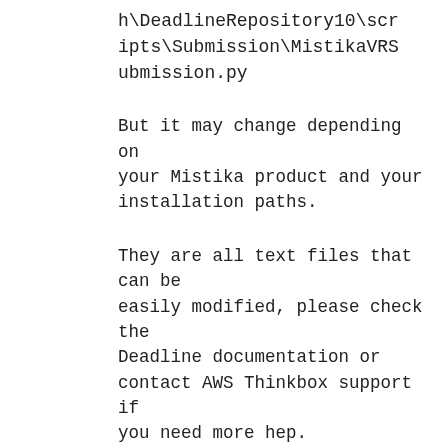h\DeadlineRepository10\scripts\Submission\MistikaVRSubmission.py
But it may change depending on your Mistika product and your installation paths.
They are all text files that can be easily modified, please check the Deadline documentation or contact AWS Thinkbox support if you need more hep.
Compatibility with other render managers and workflow automation